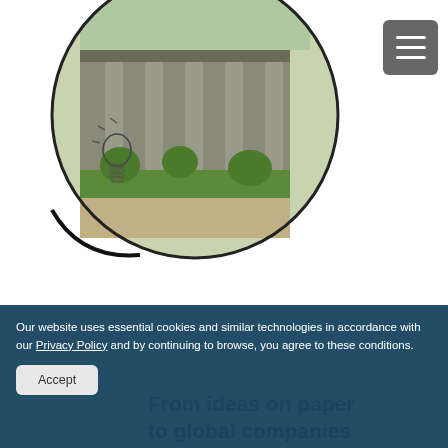[Figure (photo): Screenshot of a website showing a circular cropped photo of a building with columns and greenery, a hamburger menu button in the top right, a lightbulb illustration on the left side of the circle, and a cookie consent banner at the bottom with an Accept button and partially visible tagline 'From ideas on paper to global companies'.]
Our website uses essential cookies and similar technologies in accordance with our Privacy Policy and by continuing to browse, you agree to these conditions.
Accept
From ideas on paper to global companies